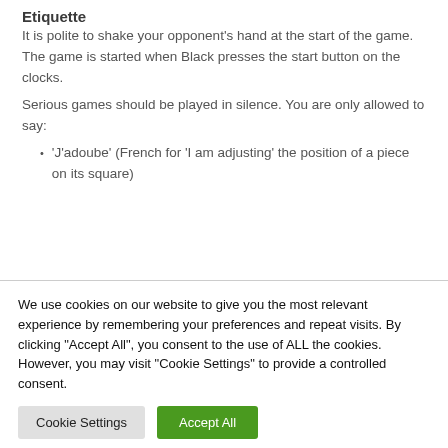Etiquette
It is polite to shake your opponent's hand at the start of the game. The game is started when Black presses the start button on the clocks.
Serious games should be played in silence. You are only allowed to say:
'J'adoube' (French for 'I am adjusting' the position of a piece on its square)
We use cookies on our website to give you the most relevant experience by remembering your preferences and repeat visits. By clicking “Accept All”, you consent to the use of ALL the cookies. However, you may visit “Cookie Settings” to provide a controlled consent.